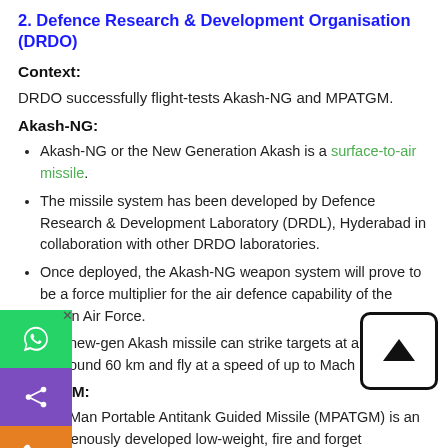2. Defence Research & Development Organisation (DRDO)
Context:
DRDO successfully flight-tests Akash-NG and MPATGM.
Akash-NG:
Akash-NG or the New Generation Akash is a surface-to-air missile.
The missile system has been developed by Defence Research & Development Laboratory (DRDL), Hyderabad in collaboration with other DRDO laboratories.
Once deployed, the Akash-NG weapon system will prove to be a force multiplier for the air defence capability of the Indian Air Force.
The new-gen Akash missile can strike targets at a distance of around 60 km and fly at a speed of up to Mach 2.5.
MPATGM:
The Man Portable Antitank Guided Missile (MPATGM) is an indigenously developed low-weight, fire and forget